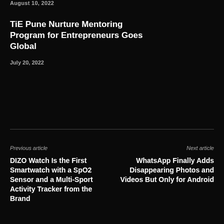August 10, 2022
TiE Pune Nurture Mentoring Program for Entrepreneurs Goes Global
July 20, 2022
Previous article
Next article
DIZO Watch Is the First Smartwatch with a SpO2 Sensor and a Multi-Sport Activity Tracker from the Brand
WhatsApp Finally Adds Disappearing Photos and Videos But Only for Android